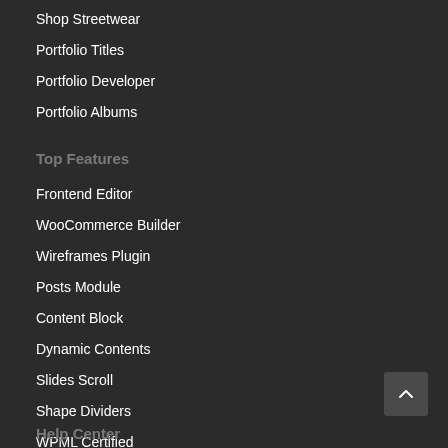Shop Streetwear
Portfolio Titles
Portfolio Developer
Portfolio Albums
Top Features
Frontend Editor
WooCommerce Builder
Wireframes Plugin
Posts Module
Content Block
Dynamic Contents
Slides Scroll
Shape Dividers
WPML Certified
Help Center